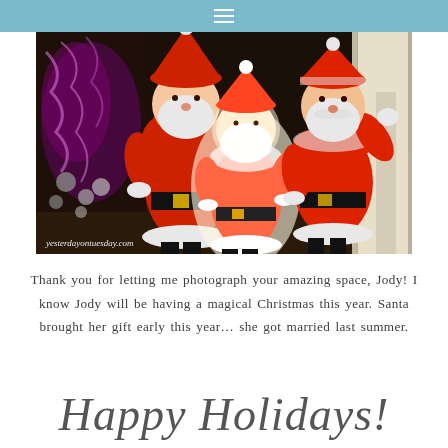≡
[Figure (photo): Three vintage plastic blow-mold Santa Claus figurines displayed on a dark surface near a fireplace decorated with metallic tinsel and ornaments. The middle Santa is lit from within, glowing warmly. A watermark reads yesterdayontuesday.com.]
Thank you for letting me photograph your amazing space, Jody! I know Jody will be having a magical Christmas this year. Santa brought her gift early this year... she got married last summer.
Happy Holidays!